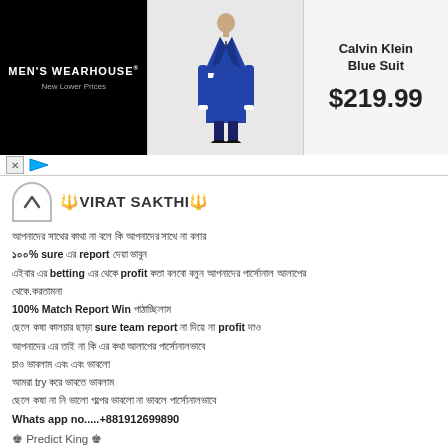[Figure (screenshot): Men's Wearhouse advertisement banner showing Calvin Klein Blue Suit at $219.99, with a photo of a man in a blue suit and a couple in formal wear on the right.]
🔱VIRAT SAKTHI🔱
আপনাদের সাথে কথা না বলে কি তোমাদের সাথে না বলার
১০০% sure এর report দেয়া কঠিন
এইবার এর betting এর থেকে profit কতা বলবো বলুন আপনাদের পার্সোনাল আলাপের
থেকে.করতামনা
100% Match Report Win পাঠাচ্ছিলাম
ছেলে কষা কালচার ছাড়া sure team report না দিয়ে profit দাও
আপনাদের এর তাই না কি এর কথা আলাপের পার্সোনালভাবে
চাও ভাবলাম এবং এবং ভাবলো
আমরা try করে ভাবতে ভাবলাম
ছেলে কষা না নি ভালো গল্পের ভাবলো না ভাবলে পার্সোনালভাবে
Whats app no.....+881912699890
♚ Predict King ♚
🔱VIRAT SAKTHI🔱